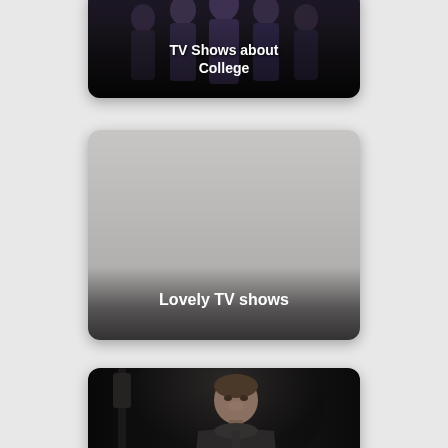[Figure (photo): Card with dark group photo of TV show characters, labeled 'TV Shows about College']
TV Shows about College
[Figure (photo): Card with gray placeholder image, labeled 'Lovely TV shows']
Lovely TV shows
[Figure (photo): Card with dark photo of a man standing, presumably from a TV show (Barry / Bill Hader)]